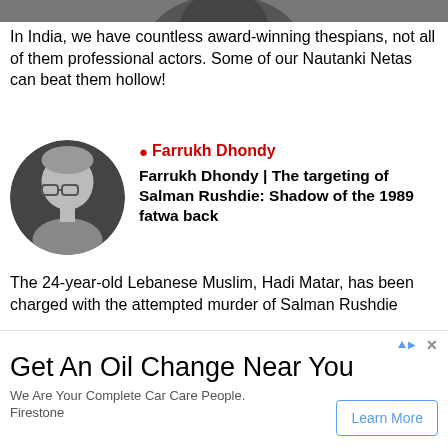[Figure (photo): Partial top photo of a person, cropped at top of page]
In India, we have countless award-winning thespians, not all of them professional actors. Some of our Nautanki Netas can beat them hollow!
[Figure (photo): Black and white circular portrait photo of Farrukh Dhondy, an older man with glasses]
Farrukh Dhondy
Farrukh Dhondy | The targeting of Salman Rushdie: Shadow of the 1989 fatwa back
The 24-year-old Lebanese Muslim, Hadi Matar, has been charged with the attempted murder of Salman Rushdie
MORE →
[Figure (infographic): Advertisement banner: Get An Oil Change Near You - We Are Your Complete Car Care People. Firestone. Learn More button.]